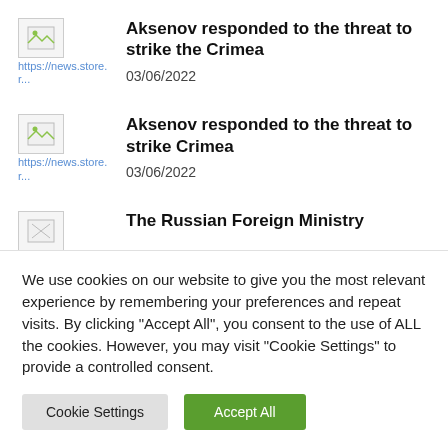[Figure (photo): Thumbnail image placeholder with broken image icon and URL https://news.store.r...]
Aksenov responded to the threat to strike the Crimea
03/06/2022
[Figure (photo): Thumbnail image placeholder with broken image icon and URL https://news.store.r...]
Aksenov responded to the threat to strike Crimea
03/06/2022
[Figure (photo): Thumbnail image placeholder with broken image icon]
The Russian Foreign Ministry
We use cookies on our website to give you the most relevant experience by remembering your preferences and repeat visits. By clicking “Accept All”, you consent to the use of ALL the cookies. However, you may visit “Cookie Settings” to provide a controlled consent.